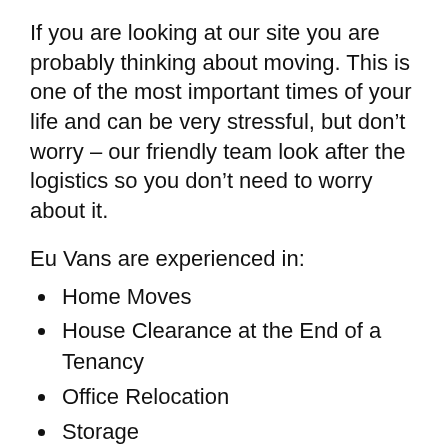If you are looking at our site you are probably thinking about moving. This is one of the most important times of your life and can be very stressful, but don’t worry – our friendly team look after the logistics so you don’t need to worry about it.
Eu Vans are experienced in:
Home Moves
House Clearance at the End of a Tenancy
Office Relocation
Storage
Shredding
Vehicle Transportation.
There is no move too big or too small, to short or